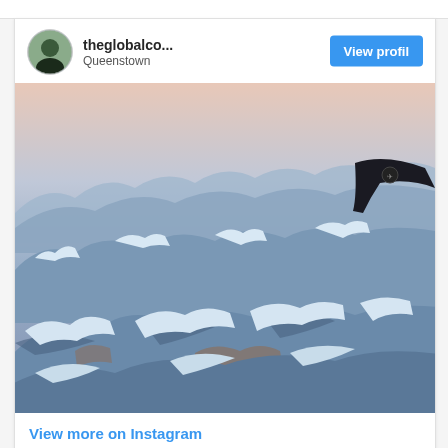theglobalco...
Queenstown
View profile
[Figure (photo): Aerial view of snow-capped mountain ranges photographed from an airplane window, showing rugged peaks dusted with snow under a soft pinkish-blue sky at dusk or dawn. An airplane wing tip is visible in the upper right corner.]
View more on Instagram